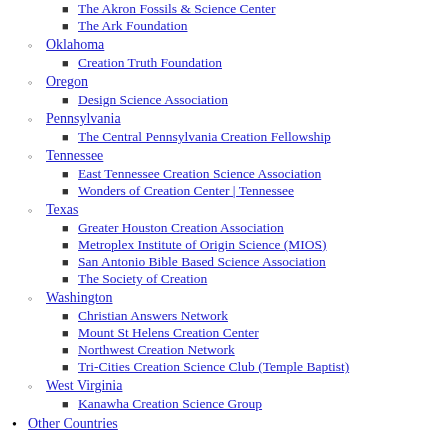The Akron Fossils & Science Center
The Ark Foundation
Oklahoma
Creation Truth Foundation
Oregon
Design Science Association
Pennsylvania
The Central Pennsylvania Creation Fellowship
Tennessee
East Tennessee Creation Science Association
Wonders of Creation Center | Tennessee
Texas
Greater Houston Creation Association
Metroplex Institute of Origin Science (MIOS)
San Antonio Bible Based Science Association
The Society of Creation
Washington
Christian Answers Network
Mount St Helens Creation Center
Northwest Creation Network
Tri-Cities Creation Science Club (Temple Baptist)
West Virginia
Kanawha Creation Science Group
Other Countries